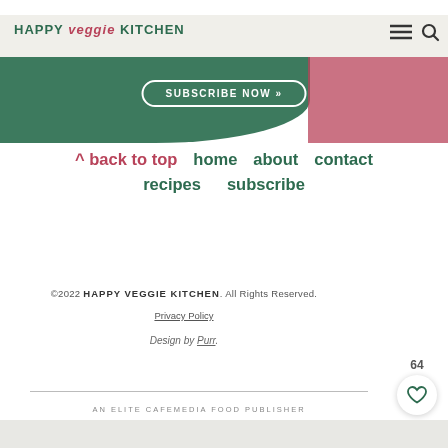[Figure (screenshot): Happy Veggie Kitchen website header with logo, navigation menu icon, search icon, green and rose-colored decorative blocks, and a Subscribe Now button]
^ back to top   home   about   contact   recipes   subscribe
©2022 HAPPY VEGGIE KITCHEN. All Rights Reserved.
Privacy Policy
Design by Purr.
AN ELITE CAFEMEDIA FOOD PUBLISHER